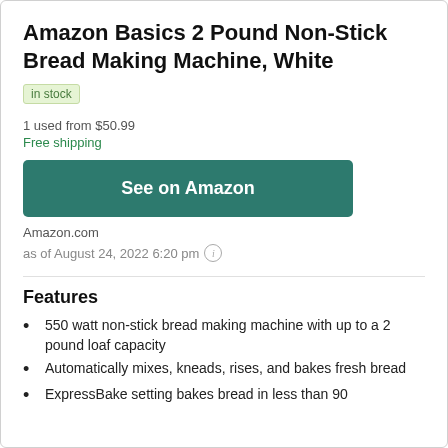Amazon Basics 2 Pound Non-Stick Bread Making Machine, White
in stock
1 used from $50.99
Free shipping
See on Amazon
Amazon.com
as of August 24, 2022 6:20 pm
Features
550 watt non-stick bread making machine with up to a 2 pound loaf capacity
Automatically mixes, kneads, rises, and bakes fresh bread
ExpressBake setting bakes bread in less than 90